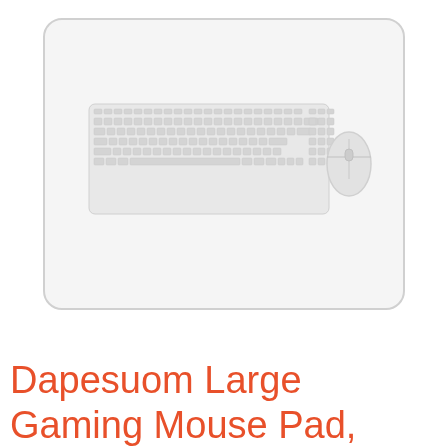[Figure (illustration): Top-down illustration of a large white/light gray extended mouse pad on a white surface. On the mouse pad there is a keyboard (light gray with white key details) on the left side and a magic-style mouse (oval, light gray) on the right side. The mouse pad has rounded corners and a thin gray border.]
Dapesuom Large Gaming Mouse Pad, Extended Mousepad with Stitched Edges, Water Resist Keyboard Pad with Non-Slip Base, Big XXL Mousepad Desk Mat for